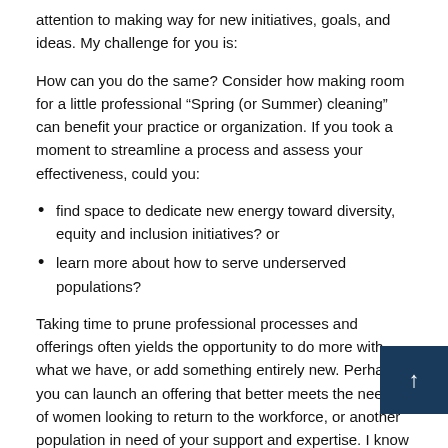attention to making way for new initiatives, goals, and ideas. My challenge for you is:
How can you do the same? Consider how making room for a little professional “Spring (or Summer) cleaning” can benefit your practice or organization. If you took a moment to streamline a process and assess your effectiveness, could you:
find space to dedicate new energy toward diversity, equity and inclusion initiatives? or
learn more about how to serve underserved populations?
Taking time to prune professional processes and offerings often yields the opportunity to do more with what we have, or add something entirely new. Perhaps you can launch an offering that better meets the needs of women looking to return to the workforce, or another population in need of your support and expertise. I know I am looking forward to refining my team’s processes so we can bring more to underserved military fam and I think this new focus has the power to make a positive difference in the lives of many. How can you do the same?